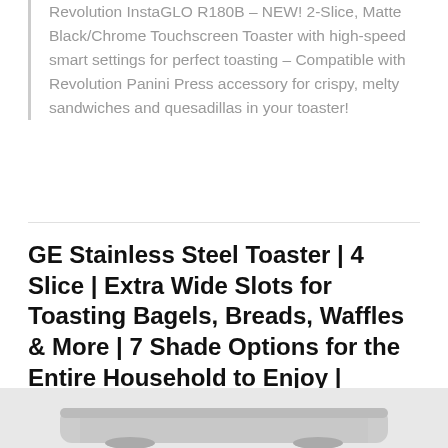Revolution InstaGLO R180B – NEW! 2-Slice, Matte Black/Chrome Touchscreen Toaster with high-speed smart settings for perfect toasting – Compatible with Revolution Panini Press accessory for crispy, melty sandwiches and quesadillas in your toaster!
GE Stainless Steel Toaster | 4 Slice | Extra Wide Slots for Toasting Bagels, Breads, Waffles & More | 7 Shade Options for the Entire Household to Enjoy | Countertop Kitchen Essentials | 1500 Watts
[Figure (photo): Bottom edge of a stainless steel toaster visible at the bottom of the page]